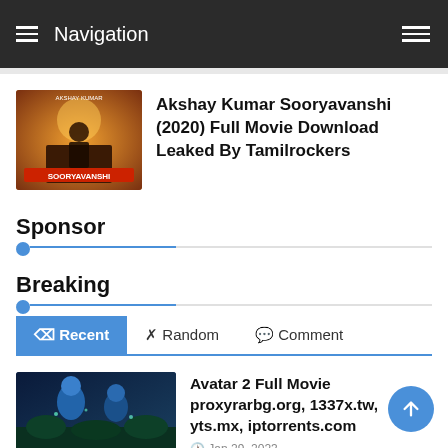Navigation
[Figure (photo): Movie poster for Sooryavanshi (2020) featuring Akshay Kumar]
Akshay Kumar Sooryavanshi (2020) Full Movie Download Leaked By Tamilrockers
Sponsor
Breaking
Recent | Random | Comment
[Figure (photo): Movie still from Avatar 2 showing blue Na'vi characters]
Avatar 2 Full Movie proxyrarbg.org, 1337x.tw, yts.mx, iptorrents.com